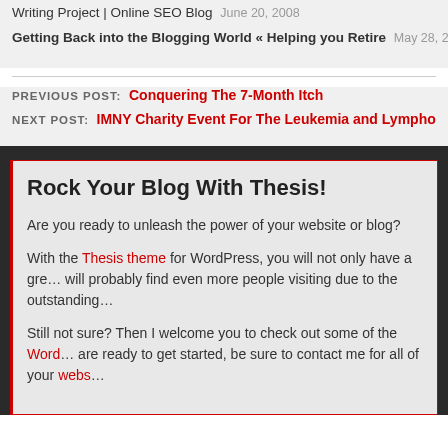Writing Project | Online SEO Blog June 20, 2008
Getting Back into the Blogging World « Helping you Retire May 28, 201
PREVIOUS POST: Conquering The 7-Month Itch
NEXT POST: IMNY Charity Event For The Leukemia and Lymphoma
Rock Your Blog With Thesis!
Are you ready to unleash the power of your website or blog?
With the Thesis theme for WordPress, you will not only have a gre… will probably find even more people visiting due to the outstanding…
Still not sure? Then I welcome you to check out some of the Word… are ready to get started, be sure to contact me for all of your webs…